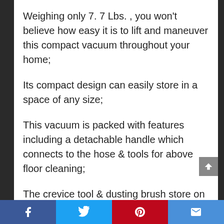Weighing only 7. 7 Lbs. , you won't believe how easy it is to lift and maneuver this compact vacuum throughout your home;
Its compact design can easily store in a space of any size;
This vacuum is packed with features including a detachable handle which connects to the hose & tools for above floor cleaning;
The crevice tool & dusting brush store on the vacuum to be within reach during cleaning;